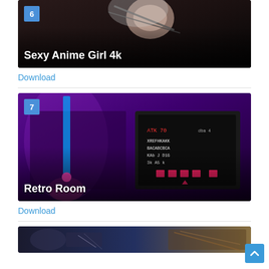[Figure (illustration): Sexy anime girl 4k thumbnail with number badge 6, dark background with anime character in chains]
Sexy Anime Girl 4k
Download
[Figure (photo): Retro Room thumbnail with number badge 7, purple-lit room with retro arcade game screen]
Retro Room
Download
[Figure (photo): Partially visible third item thumbnail at bottom of page]